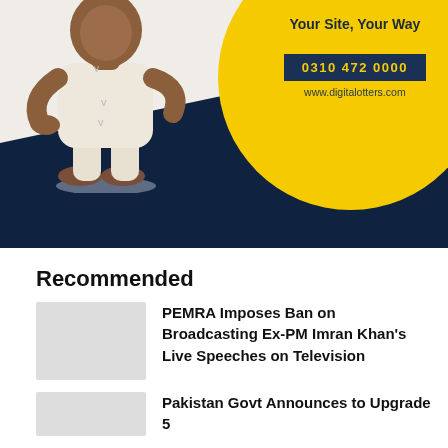[Figure (illustration): Advertisement banner for digitalotters.com showing a cartoon character in white shalwar kameez, a large yellow circle, dark navy background at bottom, with text 'Your Site, Your Way', phone number '0310 472 0000', and website 'www.digitalotters.com']
Recommended
[Figure (photo): Thumbnail image placeholder (light grey) for news article about PEMRA ban]
PEMRA Imposes Ban on Broadcasting Ex-PM Imran Khan's Live Speeches on Television
[Figure (photo): Thumbnail image placeholder (light grey) for news article about Pakistan Govt]
Pakistan Govt Announces to Upgrade 5